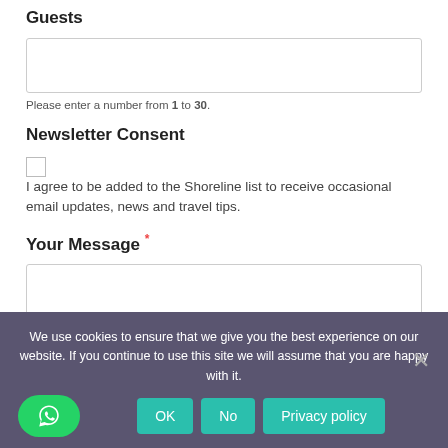Guests
[Figure (other): Empty text input box for number of guests]
Please enter a number from 1 to 30.
Newsletter Consent
[Figure (other): Unchecked checkbox]
I agree to be added to the Shoreline list to receive occasional email updates, news and travel tips.
Your Message *
[Figure (other): Empty textarea for message]
We use cookies to ensure that we give you the best experience on our website. If you continue to use this site we will assume that you are happy with it.
OK   No   Privacy policy